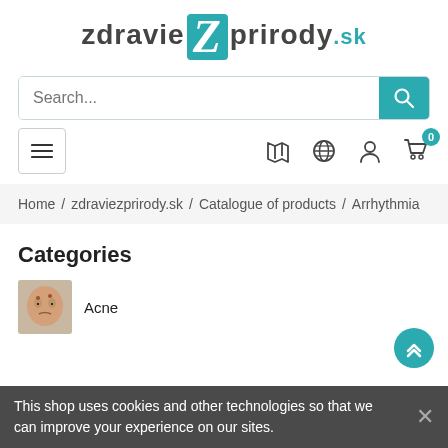[Figure (logo): zdravieZprirody.sk logo with teal Z letter]
[Figure (screenshot): Search input bar with teal search button]
[Figure (screenshot): Navigation bar with hamburger menu, map, globe, user, and cart icons]
Home / zdraviezprirody.sk / Catalogue of products / Arrhythmia
Categories
Acne
This shop uses cookies and other technologies so that we can improve your experience on our sites.